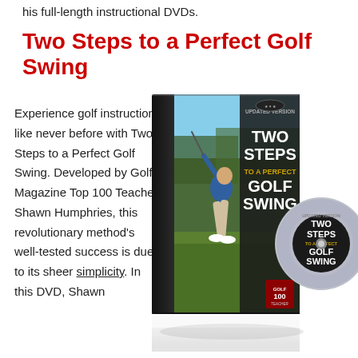his full-length instructional DVDs.
Two Steps to a Perfect Golf Swing
Experience golf instruction like never before with Two Steps to a Perfect Golf Swing. Developed by Golf Magazine Top 100 Teacher Shawn Humphries, this revolutionary method's well-tested success is due to its sheer simplicity. In this DVD, Shawn
[Figure (photo): DVD case and disc for 'Two Steps to a Perfect Golf Swing' - Updated Version, featuring Golf Magazine Top 100 Teacher Shawn Humphries. Shows a golfer mid-swing on the cover with the DVD disc visible beside the case.]